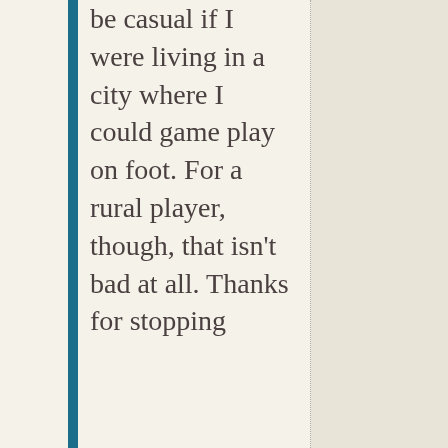be casual if I were living in a city where I could game play on foot. For a rural player, though, that isn't bad at all. Thanks for stopping